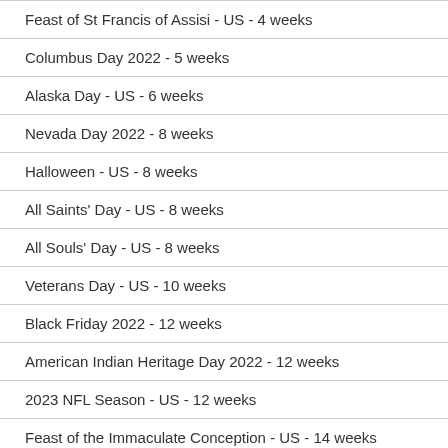Feast of St Francis of Assisi - US - 4 weeks
Columbus Day 2022 - 5 weeks
Alaska Day - US - 6 weeks
Nevada Day 2022 - 8 weeks
Halloween - US - 8 weeks
All Saints' Day - US - 8 weeks
All Souls' Day - US - 8 weeks
Veterans Day - US - 10 weeks
Black Friday 2022 - 12 weeks
American Indian Heritage Day 2022 - 12 weeks
2023 NFL Season - US - 12 weeks
Feast of the Immaculate Conception - US - 14 weeks
December Solstice - US - 16 weeks